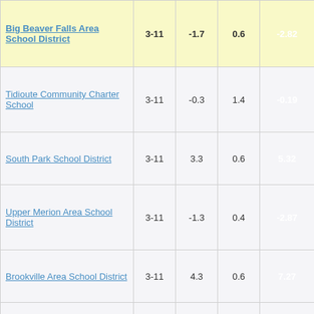| School | Grades | Col3 | Col4 | Score |
| --- | --- | --- | --- | --- |
| Big Beaver Falls Area School District | 3-11 | -1.7 | 0.6 | -2.82 |
| Tidioute Community Charter School | 3-11 | -0.3 | 1.4 | -0.19 |
| South Park School District | 3-11 | 3.3 | 0.6 | 5.32 |
| Upper Merion Area School District | 3-11 | -1.3 | 0.4 | -2.87 |
| Brookville Area School District | 3-11 | 4.3 | 0.6 | 7.27 |
| Athens Area School District | 3-11 | 3.8 | 0.5 | 7.01 |
| Central Columbia School District | 3-12 | 3.8 | 0.5 | 7.42 |